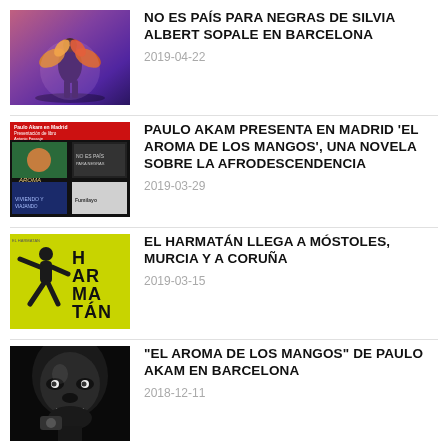[Figure (photo): Performance photo with purple/pink stage lighting, dancer in colorful costume]
NO ES PAÍS PARA NEGRAS DE SILVIA ALBERT SOPALE EN BARCELONA
2019-04-22
[Figure (photo): Book/poster collage for Paulo Akam Madrid event]
PAULO AKAM PRESENTA EN MADRID 'EL AROMA DE LOS MANGOS', UNA NOVELA SOBRE LA AFRODESCENDENCIA
2019-03-29
[Figure (photo): Green poster with silhouette figure and HARMATÁN text]
EL HARMATÁN LLEGA A MÓSTOLES, MURCIA Y A CORUÑA
2019-03-15
[Figure (photo): Black and white close-up portrait of a person's face]
“EL AROMA DE LOS MANGOS” DE PAULO AKAM EN BARCELONA
2018-12-11